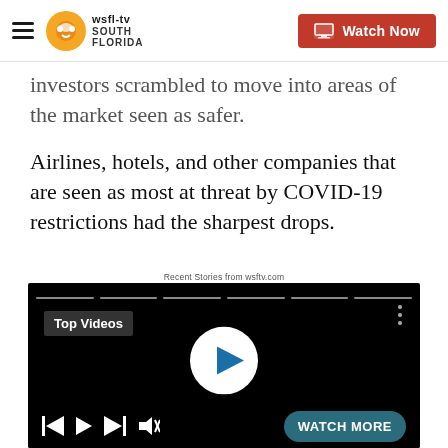WSFL-TV South Florida | Watch Now
investors scrambled to move into areas of the market seen as safer.
Airlines, hotels, and other companies that are seen as most at threat by COVID-19 restrictions had the sharpest drops.
Recent Stories from wsftv.com
[Figure (screenshot): Video player with Top Videos label, play button, controls bar and Watch More button on black background]